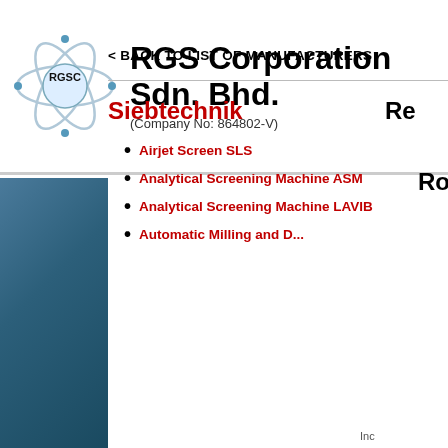[Figure (logo): RGSC atom-style logo with circular orbital rings and RGSC text in center]
RGS Corporation Sdn. Bhd.
(Company No: 864802-V)
< BACK TO LIST OF MANUFACTURERS
Siebtechnik
Airjet Screen SLS
Analytical Screening Machine ASM
Analytical Screening Machine LAVIB
Automatic Milling and ...